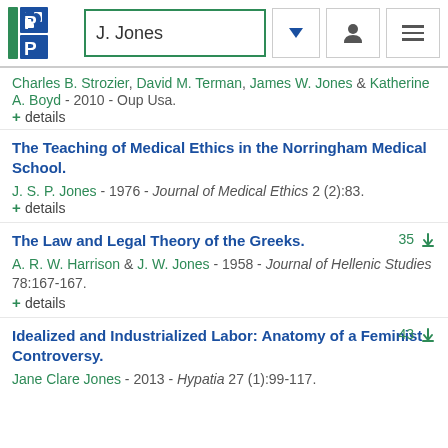J. Jones — search header with logo
Charles B. Strozier, David M. Terman, James W. Jones & Katherine A. Boyd - 2010 - Oup Usa.
+ details
The Teaching of Medical Ethics in the Norringham Medical School.
J. S. P. Jones - 1976 - Journal of Medical Ethics 2 (2):83.
+ details
The Law and Legal Theory of the Greeks.
A. R. W. Harrison & J. W. Jones - 1958 - Journal of Hellenic Studies 78:167-167.
+ details
Idealized and Industrialized Labor: Anatomy of a Feminist Controversy.
Jane Clare Jones - 2013 - Hypatia 27 (1):99-117.